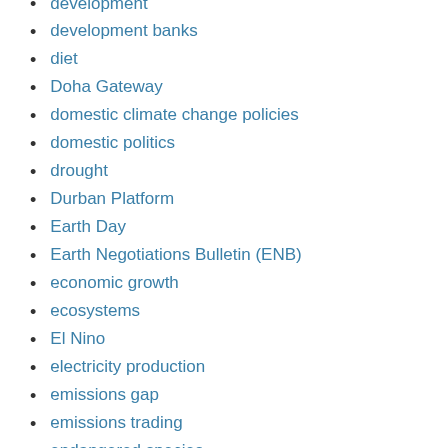development
development banks
diet
Doha Gateway
domestic climate change policies
domestic politics
drought
Durban Platform
Earth Day
Earth Negotiations Bulletin (ENB)
economic growth
ecosystems
El Nino
electricity production
emissions gap
emissions trading
endangered species
Energy
energy efficiency